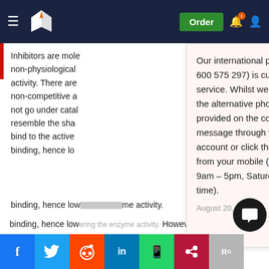≡ [Logo] Order [bell] [user]
Inhibitors are molecules that bind to enzymes at non-physiological sites to reduce activity. There are non-competitive and uncompetitive inhibitors. Competitive inhibitors do not go under catalysis themselves but resemble the shape of the substrate and bind to the active site, preventing substrate binding, hence lowering the enzyme activity. However, non-competitive inhibitors bind to a separate site on the enzyme. The substrate can still bind to the active site catalysis of the substrate would not take place.
Our international phone number (+971 600 575 297) is currently out of service. Whilst we fix this, please use the alternative phone numbers provided on the contact page, message through your customer account or click the WhatsApp button from your mobile (Monday – Friday 9am – 5pm, Saturday 10am – 6pm UK time).
August 20, 2022
Uncompetitive inhibitors are a type of inhibitor where they usually appear after the substrate attaches itself before the